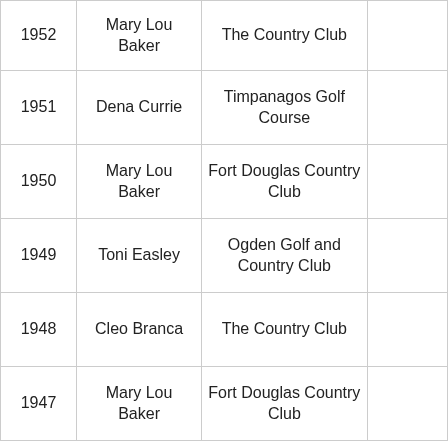| 1952 | Mary Lou Baker | The Country Club |  |
| 1951 | Dena Currie | Timpanagos Golf Course |  |
| 1950 | Mary Lou Baker | Fort Douglas Country Club |  |
| 1949 | Toni Easley | Ogden Golf and Country Club |  |
| 1948 | Cleo Branca | The Country Club |  |
| 1947 | Mary Lou Baker | Fort Douglas Country Club |  |